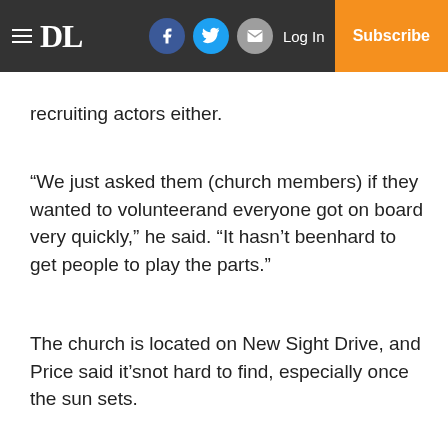≡ DL  [facebook] [twitter] [mail]  Log In  Subscribe
recruiting actors either.
“We just asked them (church members) if they wanted to volunteerand everyone got on board very quickly,” he said. “It hasn’t beenhard to get people to play the parts.”
The church is located on New Sight Drive, and Price said it’snot hard to find, especially once the sun sets.